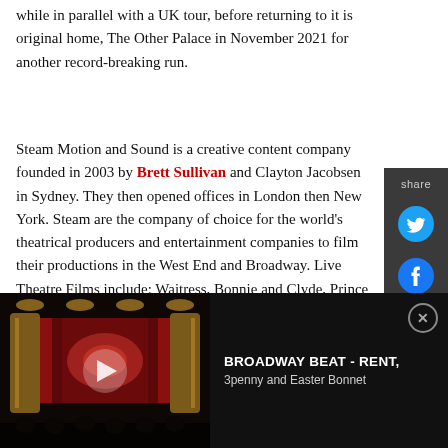while in parallel with a UK tour, before returning to it is original home, The Other Palace in November 2021 for another record-breaking run.
Steam Motion and Sound is a creative content company founded in 2003 by Brett Sullivan and Clayton Jacobsen in Sydney. They then opened offices in London then New York. Steam are the company of choice for the world's theatrical producers and entertainment companies to film their productions in the West End and Broadway. Live Theatre Films include: Waitress, Bonnie and Clyde, Prince of Egypt (all currently in post-production); Aladdin (Disney+), Kinky Boots, Newsies, Miss
[Figure (screenshot): Share sidebar with Twitter and Facebook icons on dark grey background]
[Figure (screenshot): Video thumbnail showing Broadway theatre interior with red curtain, play button overlay, and video title BROADWAY BEAT - RENT, 3penny and Easter Bonnet]